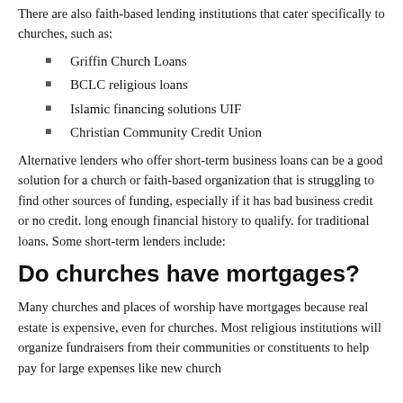There are also faith-based lending institutions that cater specifically to churches, such as:
Griffin Church Loans
BCLC religious loans
Islamic financing solutions UIF
Christian Community Credit Union
Alternative lenders who offer short-term business loans can be a good solution for a church or faith-based organization that is struggling to find other sources of funding, especially if it has bad business credit or no credit. long enough financial history to qualify. for traditional loans. Some short-term lenders include:
Do churches have mortgages?
Many churches and places of worship have mortgages because real estate is expensive, even for churches. Most religious institutions will organize fundraisers from their communities or constituents to help pay for large expenses like new church